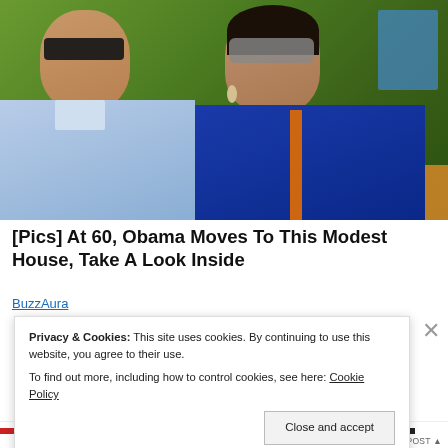[Figure (photo): Photo of two people (Barack and Michelle Obama) wearing sunglasses outdoors with green foliage in the background. Man on left wears a light blue checkered shirt; woman on right wears a blue top.]
[Pics] At 60, Obama Moves To This Modest House, Take A Look Inside
BuzzAura
Privacy & Cookies: This site uses cookies. By continuing to use this website, you agree to their use.
To find out more, including how to control cookies, see here: Cookie Policy
Close and accept